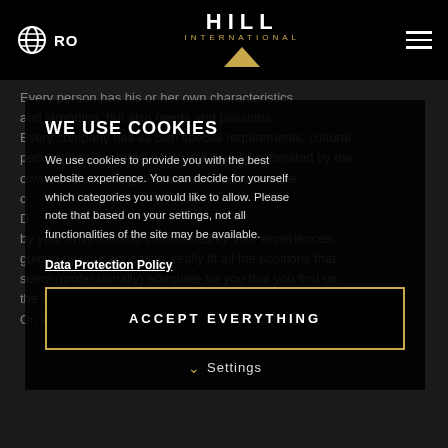RO | HILL INTERNATIONAL
Every person has his or her own characteristics and strengths, but also needs and passions. Every company has its own special requirements, cultural peculiarities, customs, which are usually generated by the owner or the management and passed on to the organisation. D... by your environment, conditioned by your experiences, guided by your education, really fit all the positions that seem (professionally) adequate for you that you find on the various career channels? Or, all the positions that seem adequately matching to you?
WE USE COOKIES
We use cookies to provide you with the best website experience. You can decide for yourself which categories you would like to allow. Please note that based on your settings, not all functionalities of the site may be available.
Data Protection Policy
ACCEPT EVERYTHING
Settings